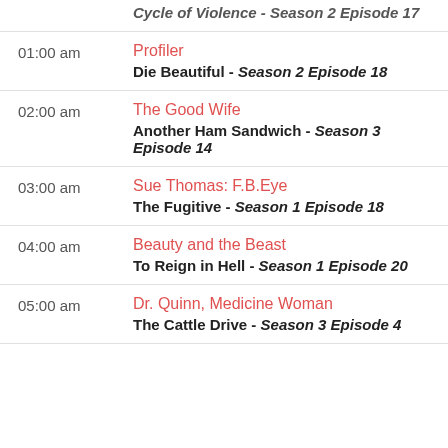Cycle of Violence - Season 2 Episode 17
01:00 am | Profiler | Die Beautiful - Season 2 Episode 18
02:00 am | The Good Wife | Another Ham Sandwich - Season 3 Episode 14
03:00 am | Sue Thomas: F.B.Eye | The Fugitive - Season 1 Episode 18
04:00 am | Beauty and the Beast | To Reign in Hell - Season 1 Episode 20
05:00 am | Dr. Quinn, Medicine Woman | The Cattle Drive - Season 3 Episode 4